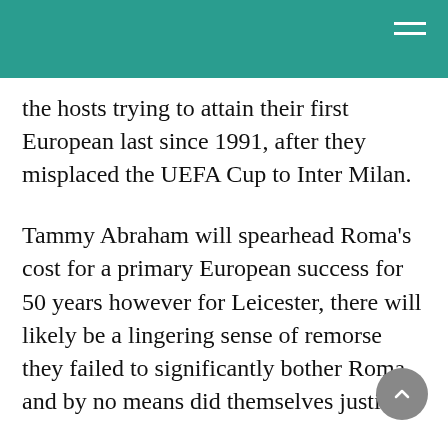the hosts trying to attain their first European last since 1991, after they misplaced the UEFA Cup to Inter Milan.
Tammy Abraham will spearhead Roma's cost for a primary European success for 50 years however for Leicester, there will likely be a lingering sense of remorse they failed to significantly bother Roma and by no means did themselves justice.
The membership have torn up the rule e-book after profitable the Premier League and